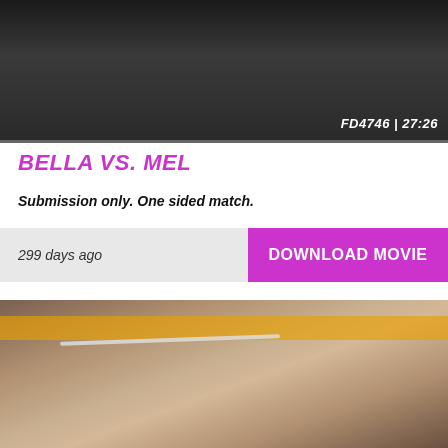[Figure (photo): Two women wrestling on a dark mat, one behind the other in a hold. Text overlay bottom right: FD4746 | 27:26]
FD4746 | 27:26
BELLA VS. MEL
Submission only. One sided match.
299 days ago
DOWNLOAD MOVIE
[Figure (photo): Two blonde women wrestling on a gym mat near ring ropes, one wearing blue bikini with tattoos, in a leg submission hold]